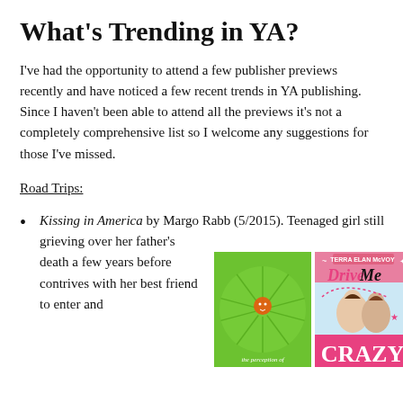What's Trending in YA?
I've had the opportunity to attend a few publisher previews recently and have noticed a few recent trends in YA publishing. Since I haven't been able to attend all the previews it's not a completely comprehensive list so I welcome any suggestions for those I've missed.
Road Trips:
Kissing in America by Margo Rabb (5/2015). Teenaged girl still grieving over her father's death a few years before contrives with her best friend to enter and
[Figure (photo): Green book cover, 'the perception of...' text visible at bottom]
[Figure (photo): Book cover for 'Drive Me Crazy' by Terra Elan McVoy with two girls sitting]